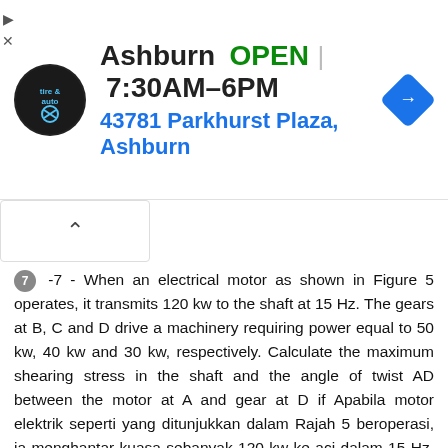[Figure (screenshot): Advertisement banner for Virginia Tire & Auto, Ashburn location. Shows logo, OPEN status, hours 7:30AM-6PM, address 43781 Parkhurst Plaza, Ashburn, and a navigation arrow icon.]
-7 - When an electrical motor as shown in Figure 5 operates, it transmits 120 kw to the shaft at 15 Hz. The gears at B, C and D drive a machinery requiring power equal to 50 kw, 40 kw and 30 kw, respectively. Calculate the maximum shearing stress in the shaft and the angle of twist AD between the motor at A and gear at D if Apabila motor elektrik seperti yang ditunjukkan dalam Rajah 5 beroperasi, ia menghantar kuasa sebanyak 120 kw ke aci dalam 15 Hz. Gear di B, C and D memacu mesin yang memerlukan kuasa 50 kw, 40 kw dan 30 kw masing-masing. Kirakan tegasan ricih maksimum dalam aci dan sudut piuhan AD antara motor di A dan gear di D jika [i] each shaft is solid setiap aci adalah padu [ii] each shaft is hollow with 8